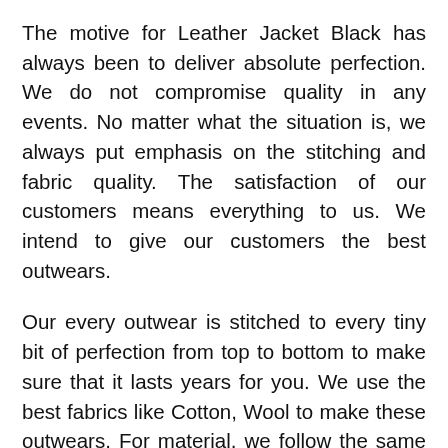The motive for Leather Jacket Black has always been to deliver absolute perfection. We do not compromise quality in any events. No matter what the situation is, we always put emphasis on the stitching and fabric quality. The satisfaction of our customers means everything to us. We intend to give our customers the best outwears.
Our every outwear is stitched to every tiny bit of perfection from top to bottom to make sure that it lasts years for you. We use the best fabrics like Cotton, Wool to make these outwears. For material, we follow the same trend and use the finest materials like polyester, nylon, parachute, and other similar materials. We have all the sizes in our collection, and if the right size for you is not available, you can always go for a custom order.